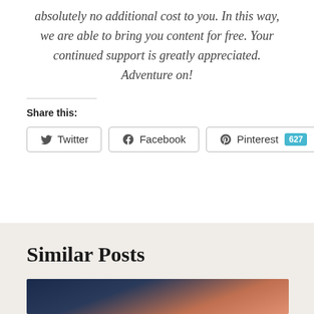absolutely no additional cost to you. In this way, we are able to bring you content for free. Your continued support is greatly appreciated. Adventure on!
Share this:
Twitter | Facebook | Pinterest 627
Similar Posts
[Figure (photo): Partial view of an outdoor/sky photo used as a thumbnail for a similar post]